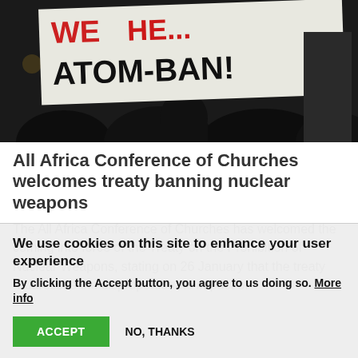[Figure (photo): Protest photo showing demonstrators holding a white banner with red and black text reading 'WE... ATOM-BAN!' against a dark nighttime background]
All Africa Conference of Churches welcomes treaty banning nuclear weapons
The All Africa Conference of Churches has welcomed the coming into force of the Treaty on the Prohibition of Nuclear Weapons, stating on 26 January that the treaty “addresses the disproportionate impact of
We use cookies on this site to enhance your user experience
By clicking the Accept button, you agree to us doing so. More info
ACCEPT   NO, THANKS